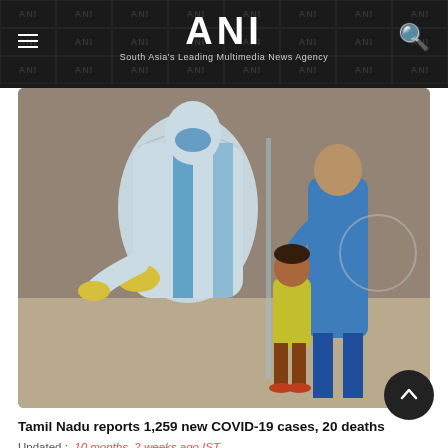ANI — South Asia's Leading Multimedia News Agency
[Figure (photo): A healthcare worker in a white PPE suit and blue mask performing a COVID-19 swab test on a young child in a yellow shirt, with another person in blue standing behind the child.]
Tamil Nadu reports 1,259 new COVID-19 cases, 20 deaths
Updated : 10 months, 2 weeks ago IST
Chennai (Tamil Nadu) [India], October 14 (ANI): Tamil Nadu reported 1,259 new COVID-19 cases in the last 24 hours.
Read More